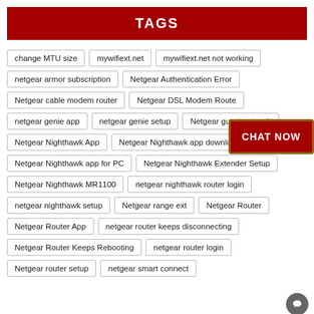TAGS
change MTU size
mywifiext.net
mywifiext.net not working
netgear armor subscription
Netgear Authentication Error
Netgear cable modem router
Netgear DSL Modem Router
netgear genie app
netgear genie setup
Netgear guest network
Netgear Nighthawk App
Netgear Nighthawk app download
Netgear Nighthawk app for PC
Netgear Nighthawk Extender Setup
Netgear Nighthawk MR1100
netgear nighthawk router login
netgear nighthawk setup
Netgear range ext
Netgear Router
Netgear Router App
netgear router keeps disconnecting
Netgear Router Keeps Rebooting
netgear router login
Netgear router setup
netgear smart connect